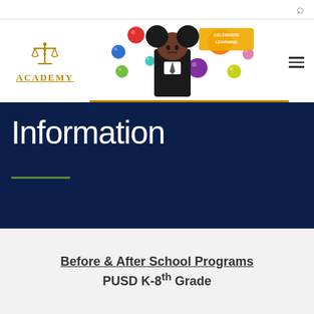Search icon (🔍) and navigation bar
[Figure (logo): JLS Academy logo with scales/balance icon above 'ACADEMY' text in gold serif letters, with a gold underline]
[Figure (illustration): Child with afro puff hairstyle in school uniform surrounded by colorful balls/bubbles (red, blue, purple, orange, yellow, green) and text 'CELEBRATE LEARNING']
Information
Before & After School Programs PUSD K-8th Grade